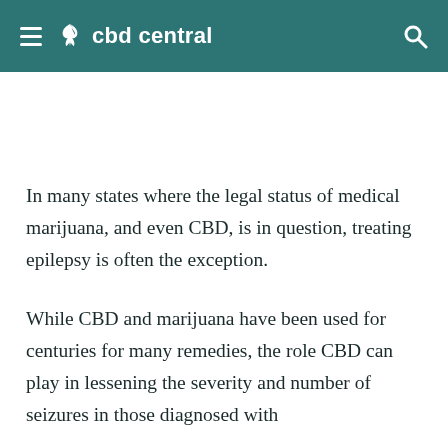cbd central
In many states where the legal status of medical marijuana, and even CBD, is in question, treating epilepsy is often the exception.
While CBD and marijuana have been used for centuries for many remedies, the role CBD can play in lessening the severity and number of seizures in those diagnosed with